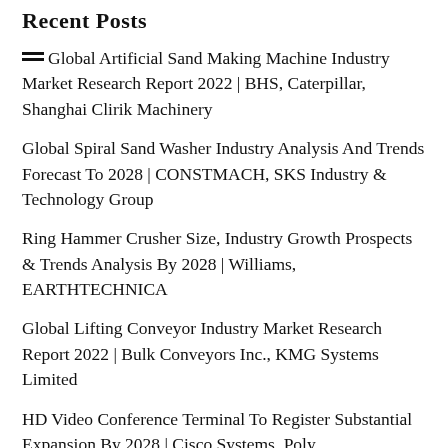Recent Posts
Global Artificial Sand Making Machine Industry Market Research Report 2022 | BHS, Caterpillar, Shanghai Clirik Machinery
Global Spiral Sand Washer Industry Analysis And Trends Forecast To 2028 | CONSTMACH, SKS Industry & Technology Group
Ring Hammer Crusher Size, Industry Growth Prospects & Trends Analysis By 2028 | Williams, EARTHTECHNICA
Global Lifting Conveyor Industry Market Research Report 2022 | Bulk Conveyors Inc., KMG Systems Limited
HD Video Conference Terminal To Register Substantial Expansion By 2028 | Cisco Systems, Poly,